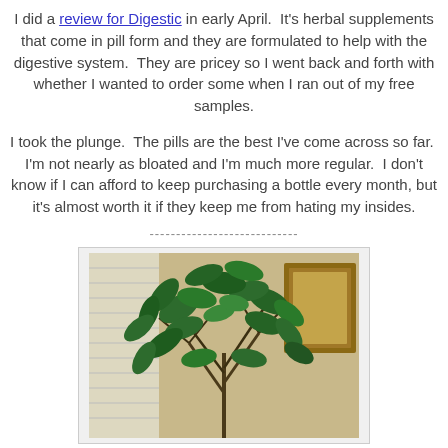I did a review for Digestic in early April.  It's herbal supplements that come in pill form and they are formulated to help with the digestive system.  They are pricey so I went back and forth with whether I wanted to order some when I ran out of my free samples.
I took the plunge.  The pills are the best I've come across so far.  I'm not nearly as bloated and I'm much more regular.  I don't know if I can afford to keep purchasing a bottle every month, but it's almost worth it if they keep me from hating my insides.
----------------------------
[Figure (photo): A green leafy indoor plant (appears to be a Schefflera/umbrella plant) photographed indoors with blinds and a framed picture visible in the background]